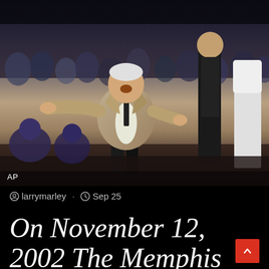[Figure (photo): Basketball coach in a gray suit gesturing energetically on the sideline, with players in dark uniforms visible in the background. Photo credited to AP.]
larrymarley · Sep 25
On November 12, 2002 The Memphis